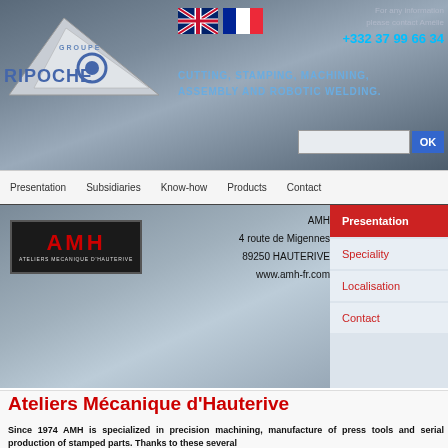[Figure (screenshot): Groupe Ripoche company website header with logo (triangle shape with RIPOCHE text), UK and French flags, tagline CUTTING, STAMPING, MACHINING, ASSEMBLY AND ROBOTIC WELDING, contact info, search bar, navigation bar, AMH subsidiary presentation with logo and address, sidebar navigation, and page title Ateliers Mécanique d'Hauterive]
For any information please contact Amélie +332 37 99 66 34
CUTTING, STAMPING, MACHINING, ASSEMBLY AND ROBOTIC WELDING.
Presentation | Subsidiaries | Know-how | Products | Contact
AMH
4 route de Migennes
89250 HAUTERIVE
www.amh-fr.com
Presentation
Speciality
Localisation
Contact
Ateliers Mécanique d'Hauterive
Since 1974 AMH is specialized in precision machining, manufacture of press tools and serial production of stamped parts. Thanks to these several